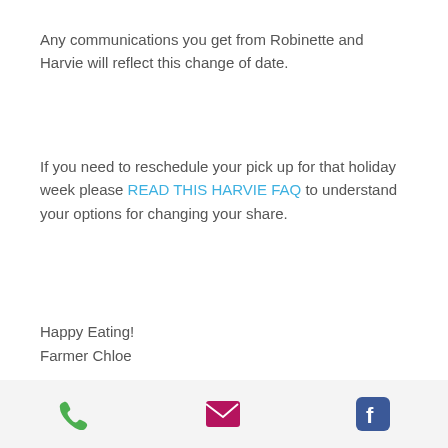Any communications you get from Robinette and Harvie will reflect this change of date.
If you need to reschedule your pick up for that holiday week please READ THIS HARVIE FAQ to understand your options for changing your share.
Happy Eating!
Farmer Chloe
[Figure (infographic): Social sharing icons: Facebook, Twitter, LinkedIn, link/chain icon]
[Figure (infographic): Stats bar with eye/view icon showing 0 views, comment icon, and heart/like icon on the right]
[Figure (infographic): Bottom navigation bar with phone icon (green), email icon (magenta/pink), and Facebook icon (blue)]